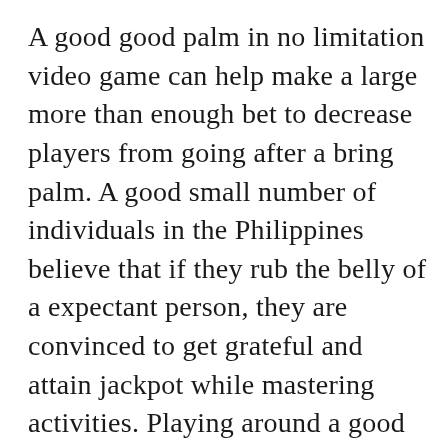A good good palm in no limitation video game can help make a large more than enough bet to decrease players from going after a bring palm. A good small number of individuals in the Philippines believe that if they rub the belly of a expectant person, they are convinced to get grateful and attain jackpot while mastering activities. Playing around a good modern casino is carried out simply by making use of snacks upon the craps gambling establishment desk along with the boxer, who else is